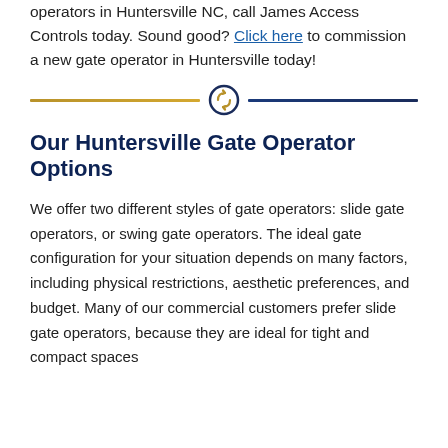operators in Huntersville NC, call James Access Controls today. Sound good? Click here to commission a new gate operator in Huntersville today!
[Figure (other): Decorative horizontal divider with a circular arrow icon in the center, gold line on the left and dark navy line on the right]
Our Huntersville Gate Operator Options
We offer two different styles of gate operators: slide gate operators, or swing gate operators. The ideal gate configuration for your situation depends on many factors, including physical restrictions, aesthetic preferences, and budget. Many of our commercial customers prefer slide gate operators, because they are ideal for tight and compact spaces and are easier to implement. No matter which